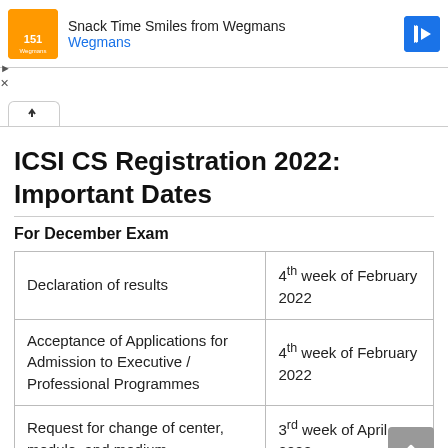[Figure (screenshot): Advertisement banner for Wegmans Snack Time Smiles with orange logo and navigation icon]
ICSI CS Registration 2022: Important Dates
For December Exam
| Event | Date |
| --- | --- |
| Declaration of results | 4th week of February 2022 |
| Acceptance of Applications for Admission to Executive / Professional Programmes | 4th week of February 2022 |
| Request for change of center, module, and medium | 3rd week of April 2022 |